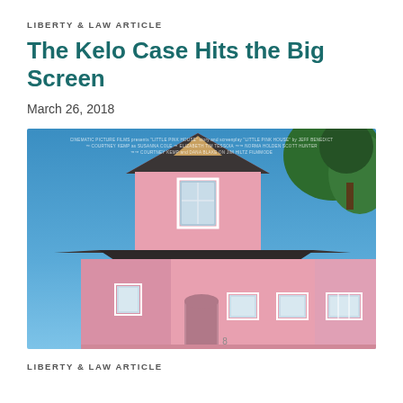LIBERTY & LAW ARTICLE
The Kelo Case Hits the Big Screen
March 26, 2018
[Figure (photo): Movie poster or promotional image showing a pink Victorian-style house against a blue sky with a tree in the upper right corner. Small text credits visible at the top of the image including 'FILMMOVE'.]
LIBERTY & LAW ARTICLE